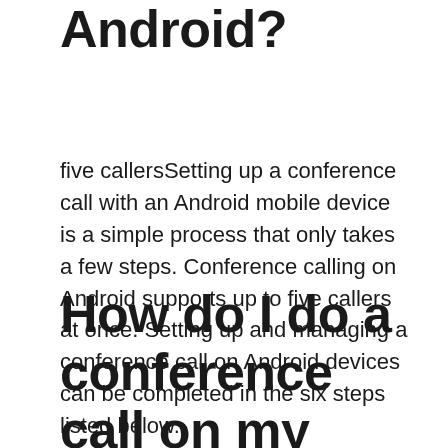you conference on an Android?
five callersSetting up a conference call with an Android mobile device is a simple process that only takes a few steps. Conference calling on Android supports up to five callers at once. Setting up and managing a conference call on Android devices can be completed in the six steps listed below.
How do I do a conference call on my Android phone?